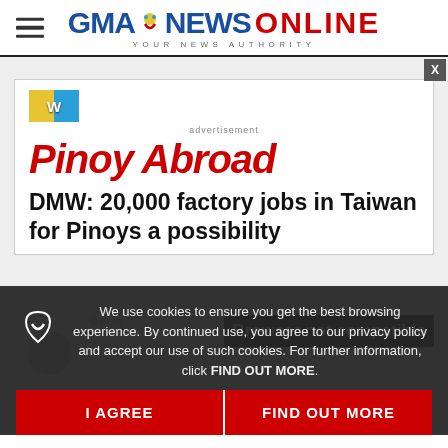GMA NEWS ONLINE — YOUR NEWS AUTHORITY
[Figure (screenshot): Advertisement card with WordAds icon, Pinoy Abroad heading in red, and article title 'DMW: 20,000 factory jobs in Taiwan for Pinoys a possibility']
Pinoy Abroad
DMW: 20,000 factory jobs in Taiwan for Pinoys a possibility
Browser not compatible
We use cookies to ensure you get the best browsing experience. By continued use, you agree to our privacy policy and accept our use of such cookies. For further information, click FIND OUT MORE.
I AGREE
FIND OUT MORE